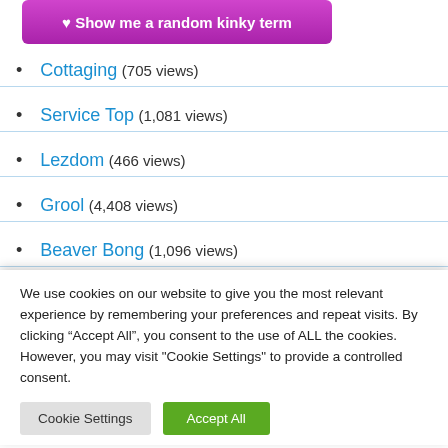[Figure (other): Purple button labeled 'Show me a random kinky term']
Cottaging (705 views)
Service Top (1,081 views)
Lezdom (466 views)
Grool (4,408 views)
Beaver Bong (1,096 views)
Thigh job (2,220 views)
Lot lizard (510 views)
We use cookies on our website to give you the most relevant experience by remembering your preferences and repeat visits. By clicking “Accept All”, you consent to the use of ALL the cookies. However, you may visit "Cookie Settings" to provide a controlled consent.